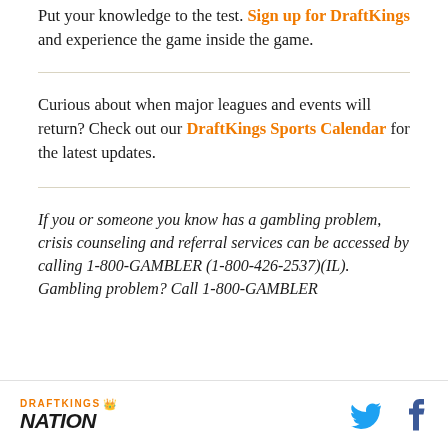Put your knowledge to the test. Sign up for DraftKings and experience the game inside the game.
Curious about when major leagues and events will return? Check out our DraftKings Sports Calendar for the latest updates.
If you or someone you know has a gambling problem, crisis counseling and referral services can be accessed by calling 1-800-GAMBLER (1-800-426-2537)(IL). Gambling problem? Call 1-800-GAMBLER
DraftKings Nation